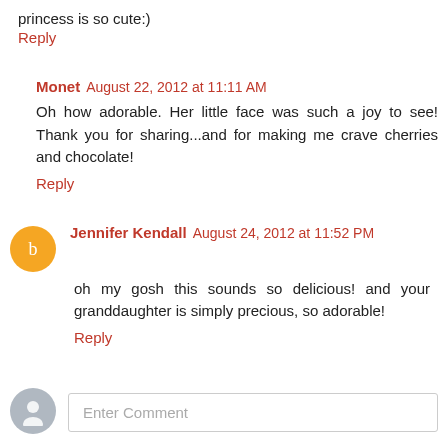princess is so cute:)
Reply
Monet  August 22, 2012 at 11:11 AM
Oh how adorable. Her little face was such a joy to see! Thank you for sharing...and for making me crave cherries and chocolate!
Reply
Jennifer Kendall  August 24, 2012 at 11:52 PM
oh my gosh this sounds so delicious! and your granddaughter is simply precious, so adorable!
Reply
Enter Comment